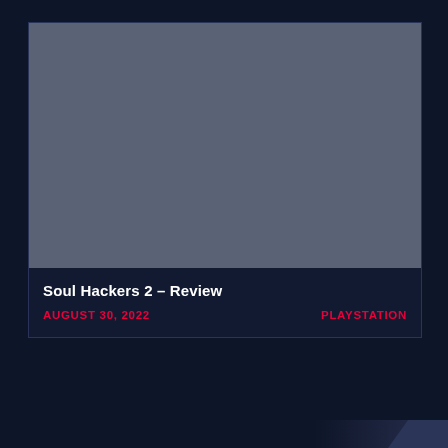[Figure (photo): Gray placeholder image for Soul Hackers 2 review article thumbnail]
Soul Hackers 2 – Review
AUGUST 30, 2022
PLAYSTATION